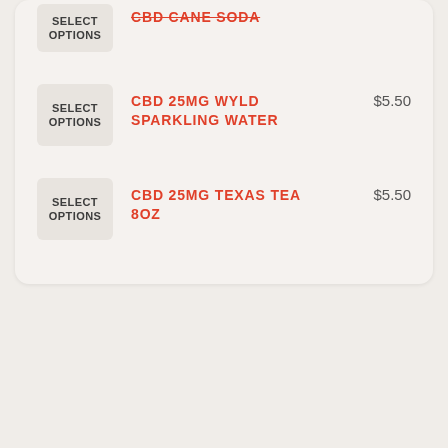SELECT OPTIONS | CBD CANE SODA
SELECT OPTIONS | CBD 25MG WYLD SPARKLING WATER | $5.50
SELECT OPTIONS | CBD 25MG TEXAS TEA 8OZ | $5.50